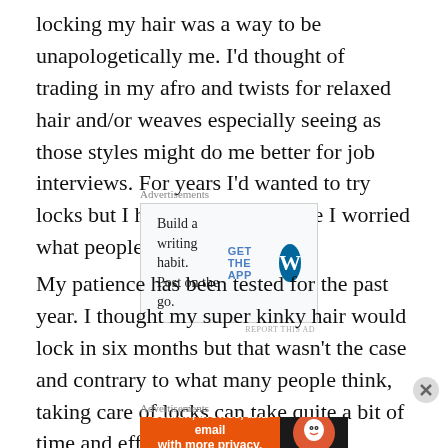locking my hair was a way to be unapologetically me. I'd thought of trading in my afro and twists for relaxed hair and/or weaves especially seeing as those styles might do me better for job interviews. For years I'd wanted to try locks but I held off on it because I worried what people may think of me.
[Figure (screenshot): WordPress app advertisement: 'Build a writing habit. Post on the go.' with GET THE APP button and WordPress logo]
My patience has been tested for the past year. I thought my super kinky hair would lock in six months but that wasn't the case and contrary to what many people think, taking care of locks can take quite a bit of time and effort
[Figure (screenshot): DuckDuckGo advertisement: 'Search, browse, and email with more privacy. All in One Free App' on orange background with DuckDuckGo logo on dark background]